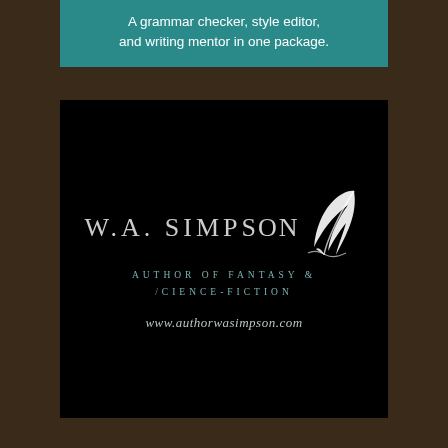A grammar checker, style editor, and writing mentor in one package.
[Figure (logo): W.A. Simpson author logo on black background with decorative quill feather, text reading 'W.A. SIMPSON', 'AUTHOR OF FANTASY & SCIENCE-FICTION', and 'www.authorwasimpson.com']